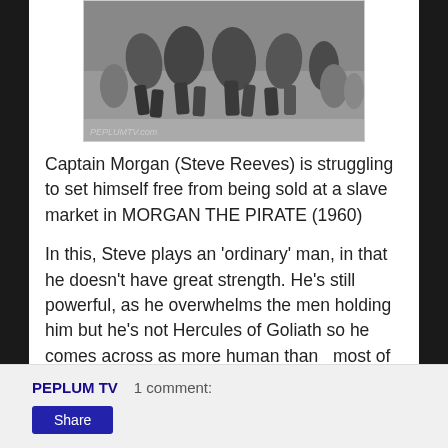[Figure (photo): Black and white photo of men struggling/fighting, with PEPLUMTV.com watermark at bottom left. Scene appears to be from a film depicting a slave market.]
Captain Morgan (Steve Reeves) is struggling to set himself free from being sold at a slave market in MORGAN THE PIRATE (1960)
In this, Steve plays an 'ordinary' man, in that he doesn't have great strength. He's still powerful, as he overwhelms the men holding him but he's not Hercules of Goliath so he comes across as more human than  most of his roles, which played off of his star making HERCULES (1958) hit. Great film that needs a decent HD transfer.
PEPLUM TV    1 comment:
Share